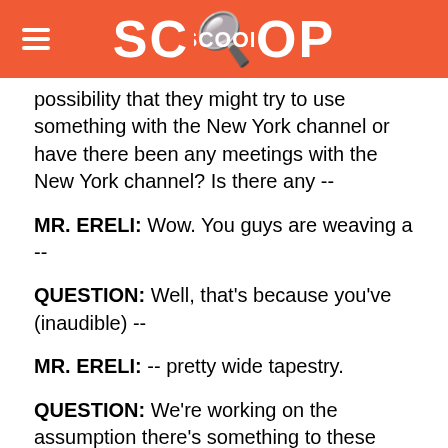SCOOP
possibility that they might try to use something with the New York channel or have there been any meetings with the New York channel? Is there any --
MR. ERELI: Wow. You guys are weaving a --
QUESTION: Well, that's because you've (inaudible) --
MR. ERELI: -- pretty wide tapestry.
QUESTION: We're working on the assumption there's something to these meetings.
MR. ERELI: There's a lot to these meetings. There is a lot to these meetings. They are very substantive, very broad and very far-reaching. And as you can tell by my earlier comments, they are designed to really take an over-the-horizon look at issues and the purpose is not to delve into detail on or pursue proscriptive policies on any one specific issue, whether it be Iran's nuclear